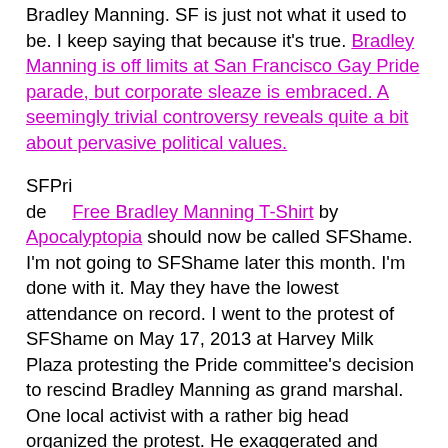Bradley Manning. SF is just not what it used to be. I keep saying that because it's true. Bradley Manning is off limits at San Francisco Gay Pride parade, but corporate sleaze is embraced. A seemingly trivial controversy reveals quite a bit about pervasive political values.
SFPride Free Bradley Manning T-Shirt by Apocalyptopia should now be called SFShame. I'm not going to SFShame later this month. I'm done with it. May they have the lowest attendance on record. I went to the protest of SFShame on May 17, 2013 at Harvey Milk Plaza protesting the Pride committee's decision to rescind Bradley Manning as grand marshal. One local activist with a rather big head organized the protest. He exaggerated and sugar-coated the protest in his article about it. You know how many people were